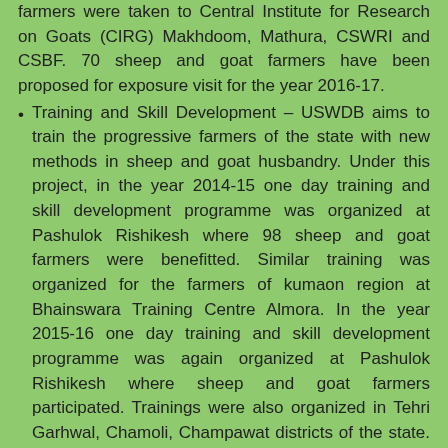farmers were taken to Central Institute for Research on Goats (CIRG) Makhdoom, Mathura, CSWRI and CSBF. 70 sheep and goat farmers have been proposed for exposure visit for the year 2016-17.
Training and Skill Development – USWDB aims to train the progressive farmers of the state with new methods in sheep and goat husbandry. Under this project, in the year 2014-15 one day training and skill development programme was organized at Pashulok Rishikesh where 98 sheep and goat farmers were benefitted. Similar training was organized for the farmers of kumaon region at Bhainswara Training Centre Almora. In the year 2015-16 one day training and skill development programme was again organized at Pashulok Rishikesh where sheep and goat farmers participated. Trainings were also organized in Tehri Garhwal, Chamoli, Champawat districts of the state. It is proposed to organized similar trainings in the year 2016-17.
Additional facilities like tents and mattresses were also